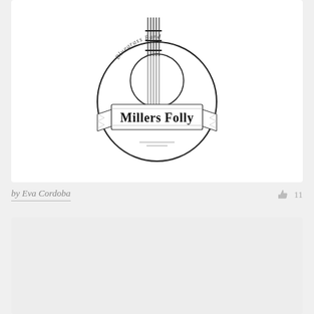[Figure (logo): Millers Folly Bluegrass Band circular logo with banjo neck at top, circular border, ribbon banner reading 'Millers Folly', and 'Bluegrass Band' text in script at top]
by Eva Cordoba
11